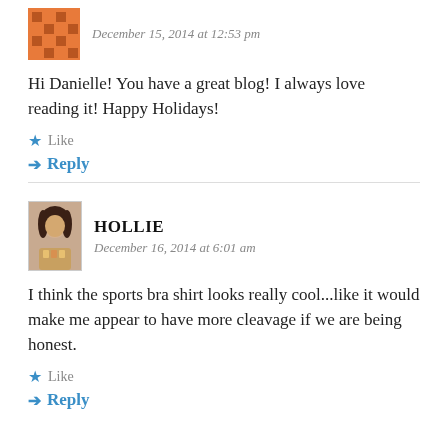December 15, 2014 at 12:53 pm
Hi Danielle! You have a great blog! I always love reading it! Happy Holidays!
Like
Reply
HOLLIE
December 16, 2014 at 6:01 am
I think the sports bra shirt looks really cool...like it would make me appear to have more cleavage if we are being honest.
Like
Reply